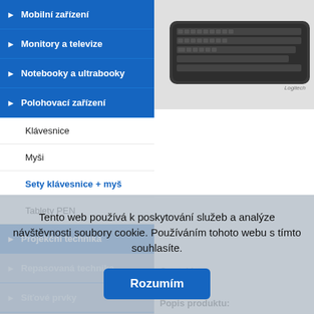▶ Mobilní zařízení
▶ Monitory a televize
▶ Notebooky a ultrabooky
▶ Polohovací zařízení
Klávesnice
Myši
Sety klávesnice + myš
Tablety PEN
▶ Projekční technika
▶ Repasovaná technika
▶ Síťové prvky
▶ Spotřební materiál
▶ Stolní počítače
▶ Tiskárny a…
[Figure (photo): Logitech wireless keyboard, dark gray, top view]
Ostatní foto:
Popis produktu:
Tento web používá k poskytování služeb a analýze návštěvnosti soubory cookie. Používáním tohoto webu s tímto souhlasíte.
Rozumím